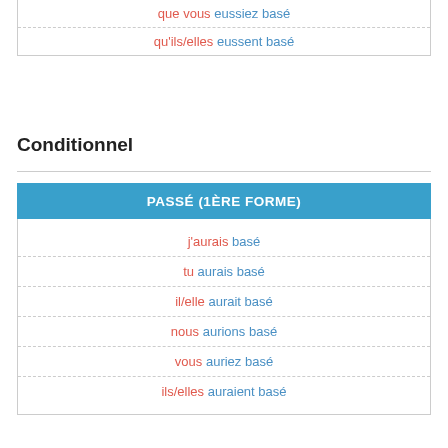| que vous eussiez basé |
| qu'ils/elles eussent basé |
Conditionnel
| PASSÉ (1ÈRE FORME) |
| --- |
| j'aurais basé |
| tu aurais basé |
| il/elle aurait basé |
| nous aurions basé |
| vous auriez basé |
| ils/elles auraient basé |